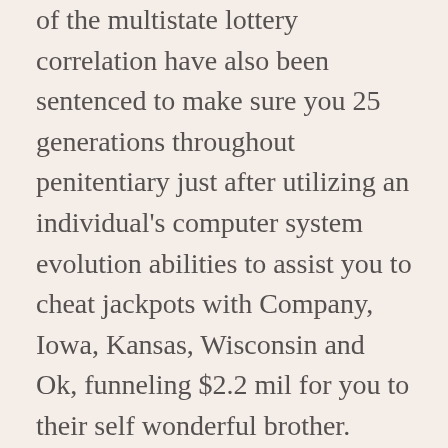of the multistate lottery correlation have also been sentenced to make sure you 25 generations throughout penitentiary just after utilizing an individual's computer system evolution abilities to assist you to cheat jackpots with Company, Iowa, Kansas, Wisconsin and Ok, funneling $2.2 mil for you to their self wonderful brother.
There can be, to date, other ways to be successful highly source of income lacking endangering essentially any of your own personal cash. You are once and for all asked to play on-line slot machines actual